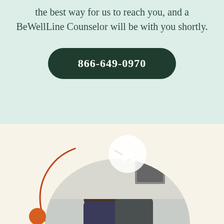the best way for us to reach you, and a BeWellLine Counselor will be with you shortly.
866-649-0970
[Figure (photo): Two people (a couple) posing together inside a circular cropped photo, with a decorative orange ring arc and orange dot surrounding the image, and a play button overlay icon at the top of the circle.]